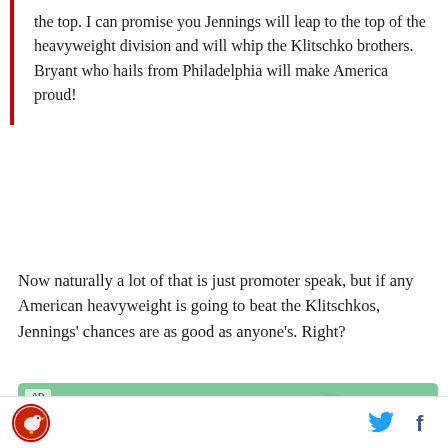the top. I can promise you Jennings will leap to the top of the heavyweight division and will whip the Klitschko brothers. Bryant who hails from Philadelphia will make America proud!
Now naturally a lot of that is just promoter speak, but if any American heavyweight is going to beat the Klitschkos, Jennings' chances are as good as anyone's. Right?
[Figure (advertisement): SkinnyPop Popcorn advertisement banner with green background and white text]
Social media icons: Twitter and Facebook